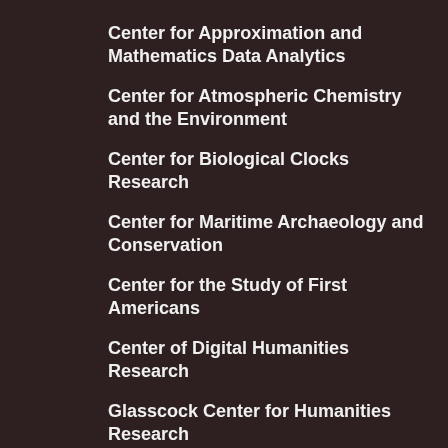Center for Approximation and Mathematics Data Analytics
Center for Atmospheric Chemistry and the Environment
Center for Biological Clocks Research
Center for Maritime Archaeology and Conservation
Center for the Study of First Americans
Center of Digital Humanities Research
Glasscock Center for Humanities Research
Public Policy Research Institute